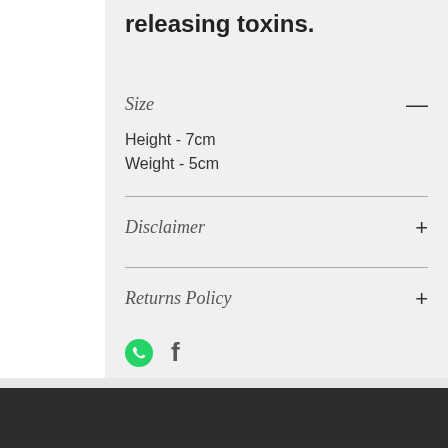releasing toxins.
Size
Height - 7cm
Weight - 5cm
Disclaimer
Returns Policy
[Figure (other): Social sharing icons: WhatsApp green circle icon and Facebook 'f' icon]